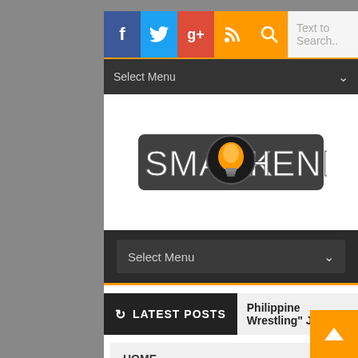[Figure (screenshot): Website header with social media icons (Facebook, Twitter, Google+, RSS, Search) and a search text box saying 'Text to Search..']
Select Menu
[Figure (logo): Smark Henry website logo - dark background with orange lightbulb icon between 'SMARK' and 'HENRY' text]
Select Menu
LATEST POSTS
Philippine Wrestling" Ja
HOME
TNA NEWS